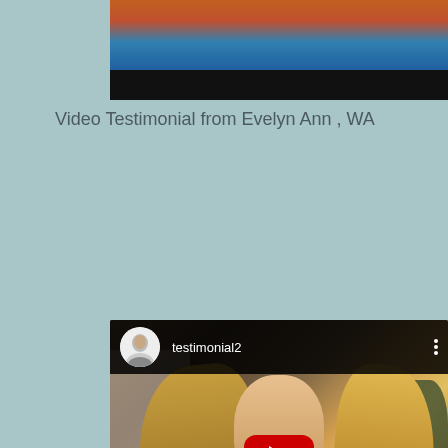[Figure (screenshot): Top portion of a video thumbnail showing colorful painting/artwork with orange and blue colors, with a black bar at bottom]
Video Testimonial from Evelyn Ann , WA
[Figure (screenshot): YouTube video embed showing testimonial2 channel with avatar of a man, and video of a blonde woman outdoors with YouTube play button overlay]